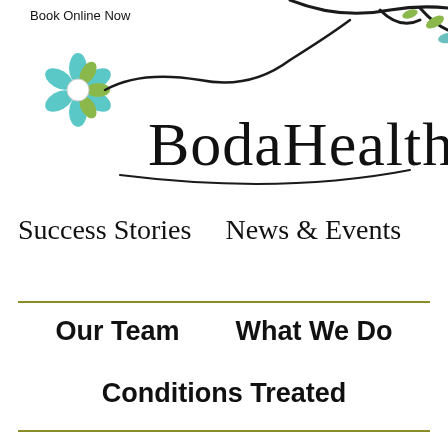Book Online Now
[Figure (logo): BodaHealth logo with decorative hand-drawn script text 'BodaHealth', a teal/blue flower with white center on the left, and a black branch with green leaves on the upper right]
Success Stories    News & Events
Our Team    What We Do
Conditions Treated